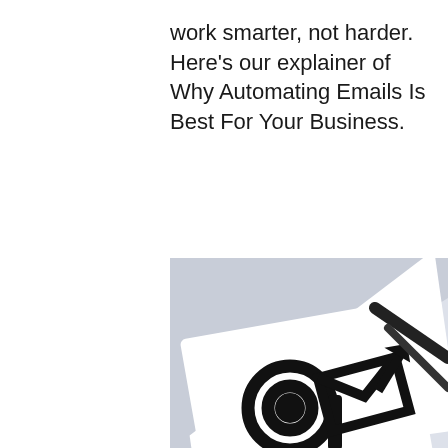work smarter, not harder. Here's our explainer of Why Automating Emails Is Best For Your Business.
[Figure (photo): Close-up photo of a white envelope or paper with a dark @ symbol and a send/arrow icon drawn on it, on a light blue/grey background, representing email automation.]